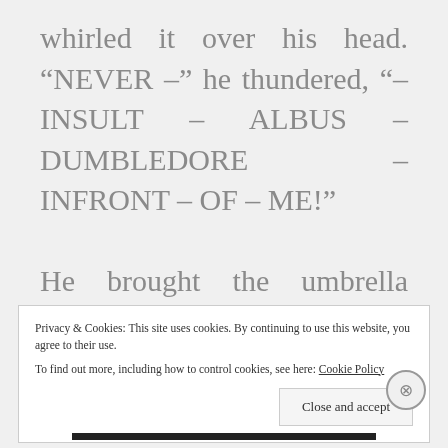whirled it over his head. “NEVER -” he thundered, “- INSULT – ALBUS – DUMBLEDORE – INFRONT – OF – ME!”

He brought the umbrella swishing down through the air to point at Dudley – there was a flash violet
Privacy & Cookies: This site uses cookies. By continuing to use this website, you agree to their use.
To find out more, including how to control cookies, see here: Cookie Policy
Close and accept